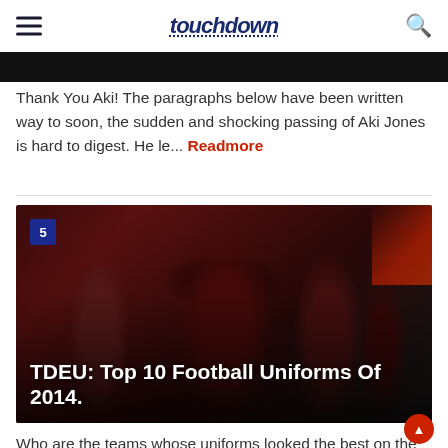touchdown
[Figure (photo): Top portion of a photo, partially cropped, showing a dark background]
Thank You Aki! The paragraphs below have been written way to soon, the sudden and shocking passing of Aki Jones is hard to digest. He le... Readmore
[Figure (photo): Football players in dark maroon/brown uniforms with gold accents, wearing helmets. Player #44 is prominent in the center. A number 5 badge appears in top-left corner. Title overlay reads: TDEU: Top 10 Football Uniforms Of 2014.]
Who are the teams whose uniforms looked the best on the field in 2014.? Some teams kept their spot, BUT, we're happy to see new teams ad... Readmore